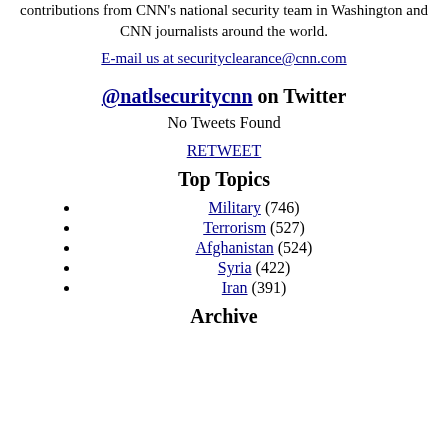contributions from CNN's national security team in Washington and CNN journalists around the world.
E-mail us at securityclearance@cnn.com
@natlsecuritycnn on Twitter
No Tweets Found
RETWEET
Top Topics
Military (746)
Terrorism (527)
Afghanistan (524)
Syria (422)
Iran (391)
Archive